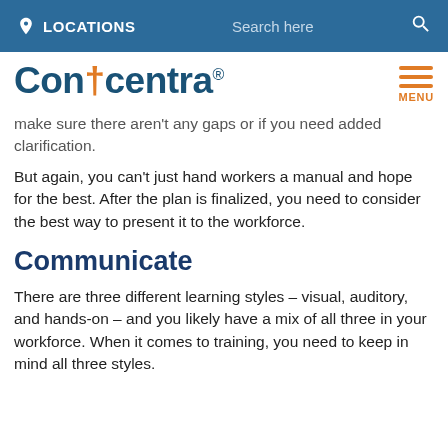LOCATIONS   Search here
[Figure (logo): Concentra logo with orange cross and registered trademark symbol]
make sure there aren't any gaps or if you need added clarification.
But again, you can't just hand workers a manual and hope for the best. After the plan is finalized, you need to consider the best way to present it to the workforce.
Communicate
There are three different learning styles – visual, auditory, and hands-on – and you likely have a mix of all three in your workforce. When it comes to training, you need to keep in mind all three styles.